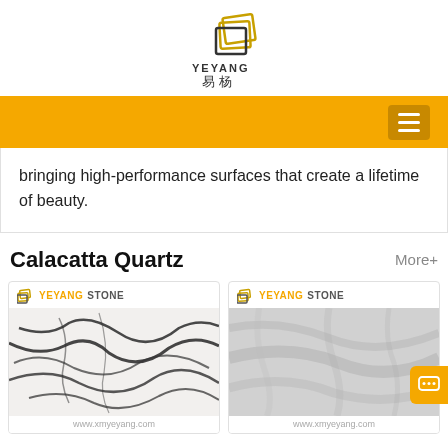[Figure (logo): YEYANG 易杨 company logo with geometric square icon in gold/dark tones]
[Figure (other): Orange navigation bar with hamburger menu icon on the right]
bringing high-performance surfaces that create a lifetime of beauty.
Calacatta Quartz
More+
[Figure (photo): YEYANG STONE branded product card showing white quartz slab with dark black veining (marble pattern), website www.xmyeyang.com]
[Figure (photo): YEYANG STONE branded product card showing grey-white quartz slab with subtle grey cloudy veining, website www.xmyeyang.com]